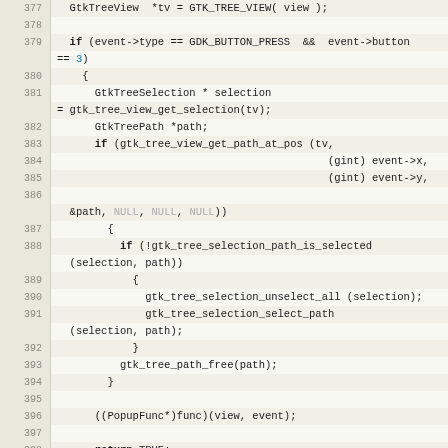[Figure (screenshot): Source code editor showing C code lines 377-405 with line numbers, involving GtkTreeView, GDK_BUTTON_PRESS event handling, tree selection and path operations, including gtk_tree_selection_unselect_all, gtk_tree_selection_select_path, gtk_tree_path_free, PopupFunc callback, return TRUE/FALSE, and gpointer/tr_object_ref_sink declarations.]